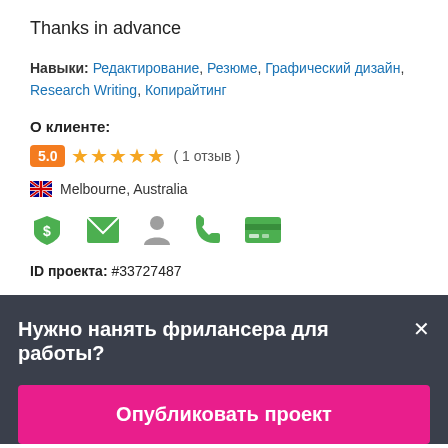Thanks in advance
Навыки: Редактирование, Резюме, Графический дизайн, Research Writing, Копирайтинг
О клиенте:
5.0 ★★★★★ ( 1 отзыв )
Melbourne, Australia
[Figure (infographic): Row of 5 green verification icons: dollar shield, envelope, person, phone, credit card]
ID проекта: #33727487
Нужно нанять фрилансера для работы?
Опубликовать проект